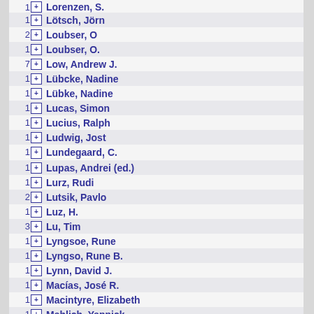1 Lorenzen, S.
1 Lötsch, Jörn
2 Loubser, O
1 Loubser, O.
7 Low, Andrew J.
1 Lübcke, Nadine
1 Lübke, Nadine
1 Lucas, Simon
1 Lucius, Ralph
1 Ludwig, Jost
1 Lundegaard, C.
1 Lupas, Andrei (ed.)
1 Lurz, Rudi
2 Lutsik, Pavlo
1 Luz, H.
3 Lu, Tim
1 Lyngsoe, Rune
1 Lyngso, Rune B.
1 Lynn, David J.
1 Macías, José R.
1 Macintyre, Elizabeth
1 Mahlich, Yannick